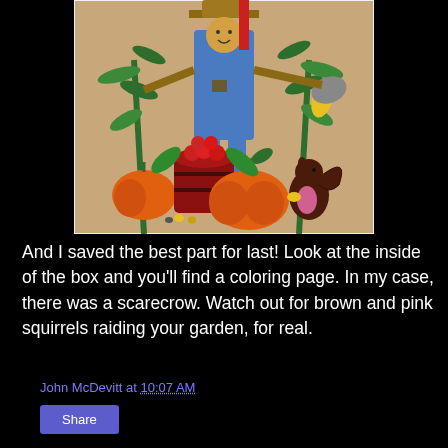[Figure (illustration): A child's coloring page illustration on tan/brown paper showing a scarecrow in blue overalls with corn stalks, a red barrel of apples, pumpkins, and a brown and pink squirrel holding something.]
And I saved the best part for last! Look at the inside of the box and you'll find a coloring page. In my case, there was a scarecrow. Watch out for brown and pink squirrels raiding your garden, for real.
John McDevitt at 10:07 AM